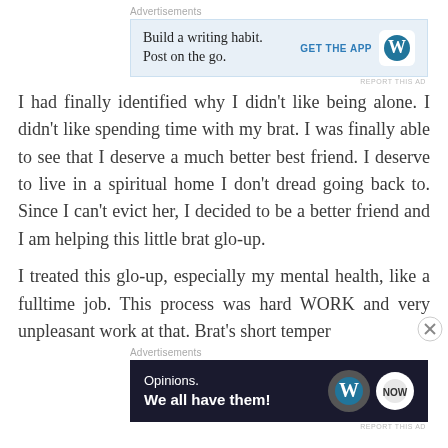Advertisements
[Figure (other): Advertisement banner: 'Build a writing habit. Post on the go.' with GET THE APP button and WordPress logo]
REPORT THIS AD
I had finally identified why I didn't like being alone. I didn't like spending time with my brat. I was finally able to see that I deserve a much better best friend. I deserve to live in a spiritual home I don't dread going back to. Since I can't evict her, I decided to be a better friend and I am helping this little brat glo-up.
I treated this glo-up, especially my mental health, like a fulltime job. This process was hard WORK and very unpleasant work at that. Brat's short temper
Advertisements
[Figure (other): Advertisement banner dark background: 'Opinions. We all have them!' with WordPress and other logos]